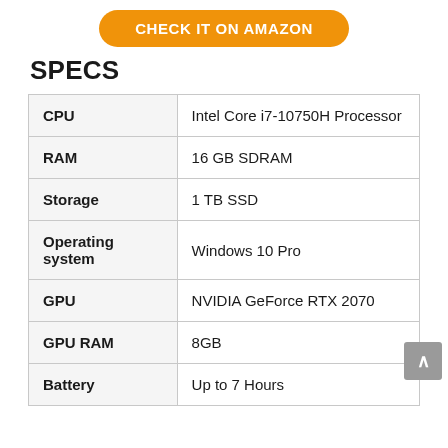[Figure (other): Orange rounded button with text CHECK IT ON AMAZON]
SPECS
|  |  |
| --- | --- |
| CPU | Intel Core i7-10750H Processor |
| RAM | 16 GB SDRAM |
| Storage | 1 TB SSD |
| Operating system | Windows 10 Pro |
| GPU | NVIDIA GeForce RTX 2070 |
| GPU RAM | 8GB |
| Battery | Up to 7 Hours |